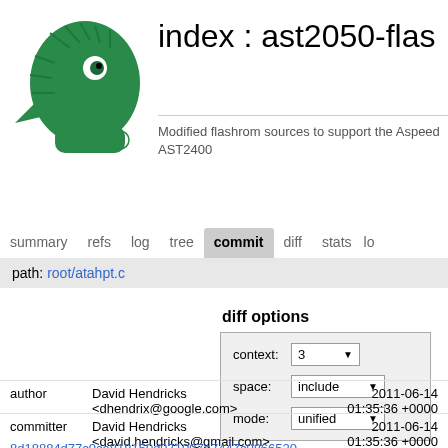[Figure (logo): Green eagle/hawk head logo facing right, CGit or similar git web interface logo]
index : ast2050-flas
Modified flashrom sources to support the Aspeed AST2400
summary   refs   log   tree   commit   diff   stats   lo
path: root/atahpt.c
diff options
context: 3
space: include
mode: unified
author   David Hendricks
<dhendrix@google.com>
2011-06-14
01:35:36 +0000
committer   David Hendricks
<david.hendricks@gmail.com>
2011-06-14
01:35:36 +0000